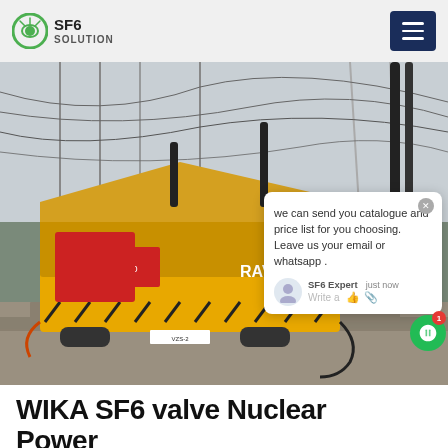SF6 SOLUTION
[Figure (photo): Yellow SF6 service vehicle/truck at an electrical substation with high-voltage infrastructure, overhead power lines and insulators in the background. A chat popup overlay is visible on the right side of the image.]
WIKA SF6 valve Nuclear Power